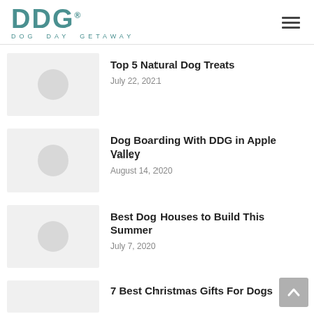DDG Dog Day Getaway
Top 5 Natural Dog Treats
July 22, 2021
Dog Boarding With DDG in Apple Valley
August 14, 2020
Best Dog Houses to Build This Summer
July 7, 2020
7 Best Christmas Gifts For Dogs